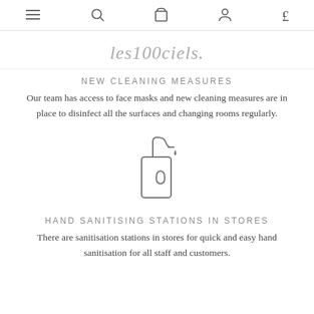≡  🔍  🛍  👤  £
[Figure (logo): les100ciels brand logo in cursive script]
NEW CLEANING MEASURES
Our team has access to face masks and new cleaning measures are in place to disinfect all the surfaces and changing rooms regularly.
[Figure (illustration): Hand sanitiser pump bottle icon with a droplet, drawn in outline style]
HAND SANITISING STATIONS IN STORES
There are sanitisation stations in stores for quick and easy hand sanitisation for all staff and customers.